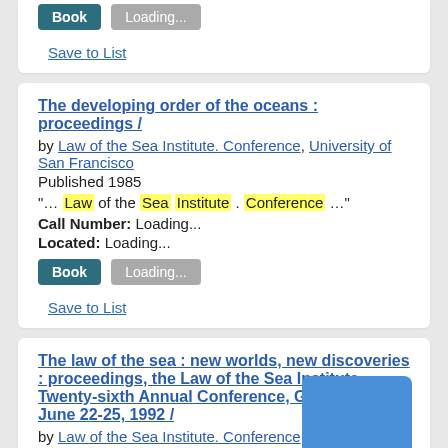Book  Loading...
Save to List
The developing order of the oceans : proceedings /
by Law of the Sea Institute. Conference, University of San Francisco
Published 1985
"... Law of the Sea Institute . Conference ..."
Call Number: Loading...
Located: Loading...
Book  Loading...
Save to List
The law of the sea : new worlds, new discoveries : proceedings, the Law of the Sea Institute, Twenty-sixth Annual Conference, Genoa, Italy, June 22-25, 1992 /
by Law of the Sea Institute. Conference, Ente Co... '92